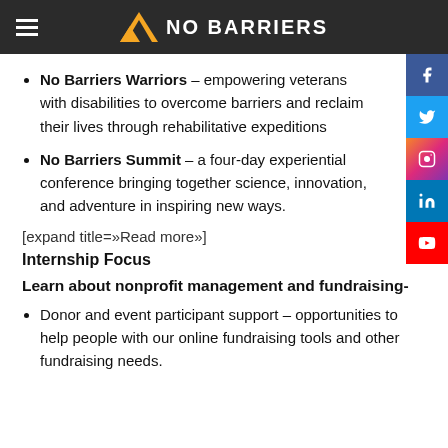No Barriers
No Barriers Warriors – empowering veterans with disabilities to overcome barriers and reclaim their lives through rehabilitative expeditions
No Barriers Summit – a four-day experiential conference bringing together science, innovation, and adventure in inspiring new ways.
[expand title=»Read more»]
Internship Focus
Learn about nonprofit management and fundraising-
Donor and event participant support – opportunities to help people with our online fundraising tools and other fundraising needs.